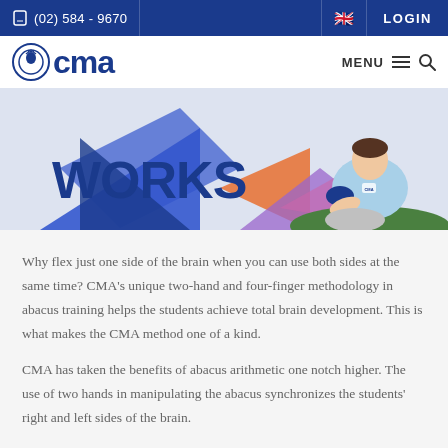(02) 584 - 9670 | LOGIN
[Figure (logo): CMA logo with circular icon and bold blue CMA text, plus MENU and search icons on right]
[Figure (illustration): Illustration showing 'WORKS' text in bold blue on left, and a child in CMA uniform sitting with colorful geometric shapes and papers around them]
Why flex just one side of the brain when you can use both sides at the same time? CMA's unique two-hand and four-finger methodology in abacus training helps the students achieve total brain development. This is what makes the CMA method one of a kind.
CMA has taken the benefits of abacus arithmetic one notch higher. The use of two hands in manipulating the abacus synchronizes the students' right and left sides of the brain.